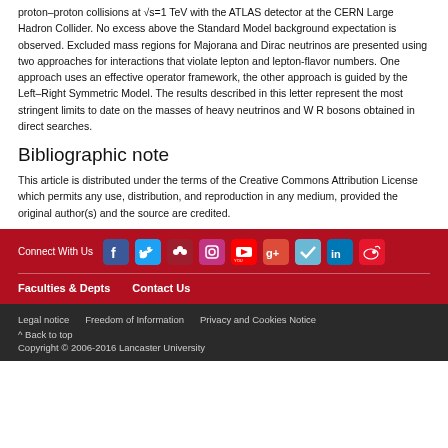proton–proton collisions at √s=1 TeV with the ATLAS detector at the CERN Large Hadron Collider. No excess above the Standard Model background expectation is observed. Excluded mass regions for Majorana and Dirac neutrinos are presented using two approaches for interactions that violate lepton and lepton-flavor numbers. One approach uses an effective operator framework, the other approach is guided by the Left–Right Symmetric Model. The results described in this letter represent the most stringent limits to date on the masses of heavy neutrinos and W R bosons obtained in direct searches.
Bibliographic note
This article is distributed under the terms of the Creative Commons Attribution License which permits any use, distribution, and reproduction in any medium, provided the original author(s) and the source are credited.
Connect With Us | Faculties & Depts | Contact Us | Legal notice | Freedom of Information | Privacy and Cookies Notice | ^ Back to top | Copyright © 2006-2016 Lancaster University